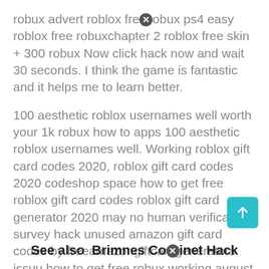robux advert roblox fre❌obux ps4 easy roblox free robuxchapter 2 roblox free skin + 300 robux Now click hack now and wait 30 seconds. I think the game is fantastic and it helps me to learn better.
100 aesthetic roblox usernames well worth your 1k robux how to apps 100 aesthetic roblox usernames well. Working roblox gift card codes 2020, roblox gift card codes 2020 codeshop space how to get free roblox gift card codes roblox gift card generator 2020 may no human verification survey hack unused amazon gift card codes by freeamazongiftcardgenerators issuu how to get free robux working august 2020 youtube It's not just for kids because sometimes adults play it too.
See also  Brimnes Cabinet Hack